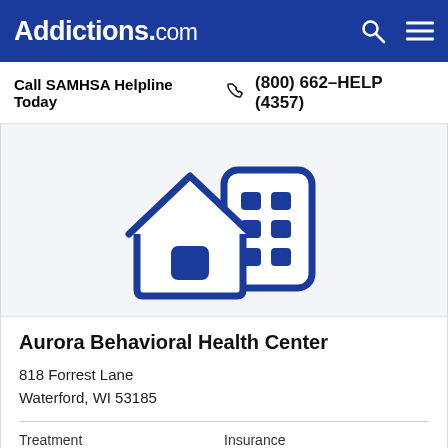Addictions.com
Call SAMHSA Helpline Today  (800) 662-HELP (4357)
[Figure (illustration): Icon of a house with a building/facility behind it, rendered in dark blue outline style on a light gray background]
Aurora Behavioral Health Center
818 Forrest Lane
Waterford, WI 53185
Treatment
Outpatient
Insurance
Medicaid  Private